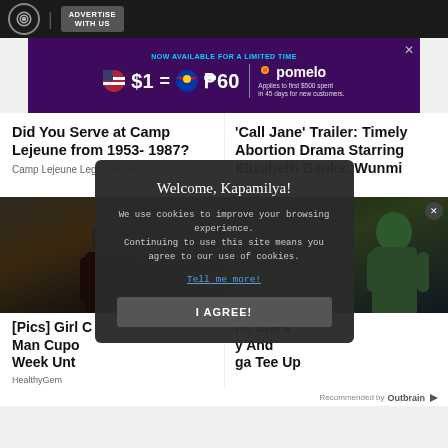ABS-CBN | ADVERTISE WITH US
[Figure (screenshot): Pomelo advertisement banner: NOW AVAILABLE FOR A LIMITED TIME $1 = ₱60 Applies to first $500 spent in 45 days for new customers.]
Did You Serve at Camp Lejeune from 1953- 1987?
Camp Lejeune Legal Helpers
'Call Jane' Trailer: Timely Abortion Drama Starring Elizabeth Banks, Wunmi
Shadow and Act
[Figure (photo): Left: Man in dark clothing outdoors. Right: Woman with green skin (She-Hulk character) in action pose outdoors.]
[Pics] Girl C Man Cupo Week Unt
HealthyGem
m, Stars y And ga Tee Up
Recommended by Outbrain
Welcome, Kapamilya! We use cookies to improve your browsing experience. Continuing to use this site means you agree to our use of cookies. Tell me more! I AGREE!